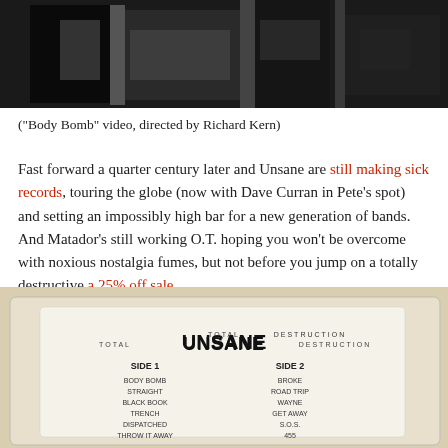[Figure (photo): Black and white photograph cropped at top of page, partially visible]
("Body Bomb" video, directed by Richard Kern)
Fast forward a quarter century later and Unsane are still making sick records, touring the globe (now with Dave Curran in Pete's spot) and setting an impossibly high bar for a new generation of bands. And Matador's still working O.T. hoping you won't be overcome with noxious nostalgia fumes, but not before you jump on a totally destructive a 25% off sale.
[Figure (photo): Photo of a cassette tape insert reading TOTAL UNSANE DESTRUCTION with track listings for Side 1 and Side 2]